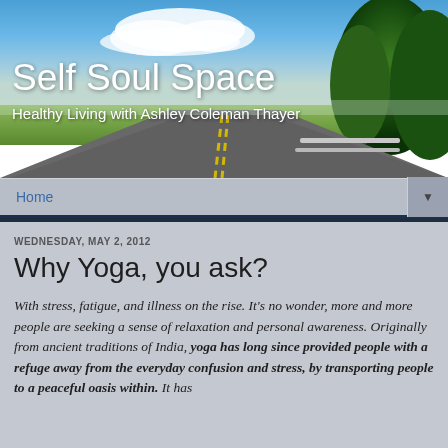[Figure (photo): Website banner header photo: a road stretching into the distance under a blue sky with clouds, green trees on the right, with overlay text 'Self Soul Space' and subtitle 'Healthy Living with Ashley Coleman Thayer']
Self Soul Space
Healthy Living with Ashley Coleman Thayer
Home
WEDNESDAY, MAY 2, 2012
Why Yoga, you ask?
With stress, fatigue, and illness on the rise.  It's no wonder, more and more people are seeking a sense of relaxation and personal awareness. Originally from ancient traditions of India, yoga has long since provided people with a refuge away from the everyday confusion and stress, by transporting people to a peaceful oasis within.  It has